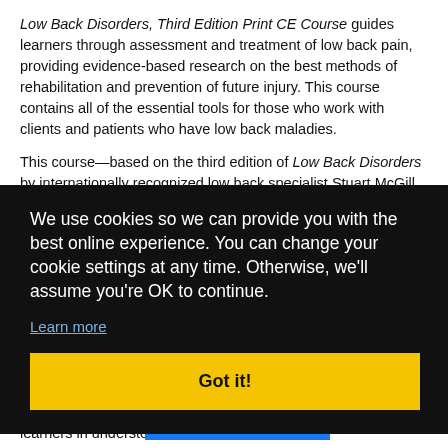Low Back Disorders, Third Edition Print CE Course guides learners through assessment and treatment of low back pain, providing evidence-based research on the best methods of rehabilitation and prevention of future injury. This course contains all of the essential tools for those who work with clients and patients who have low back maladies.
This course—based on the third edition of Low Back Disorders by internationally recognized low back specialist Stuart McGill—presents the research and applications of back anatomy and biomechanics to build effective prevention and
We use cookies so we can provide you with the best online experience. You can change your cookie settings at any time. Otherwise, we'll assume you're OK to continue.
Learn more
Got it!
learners in understo... theories